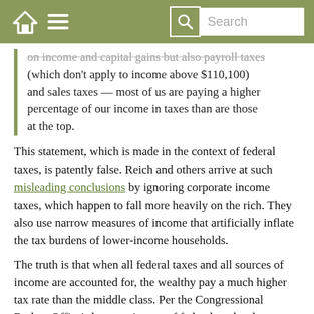Search
on income and capital gains but also payroll taxes (which don't apply to income above $110,100) and sales taxes — most of us are paying a higher percentage of our income in taxes than are those at the top.
This statement, which is made in the context of federal taxes, is patently false. Reich and others arrive at such misleading conclusions by ignoring corporate income taxes, which happen to fall more heavily on the rich. They also use narrow measures of income that artificially inflate the tax burdens of lower-income households.
The truth is that when all federal taxes and all sources of income are accounted for, the wealthy pay a much higher tax rate than the middle class. Per the Congressional Budget Office's latest estimates of federal tax burdens, households in the middle 20% of the U.S. income distribution paid an